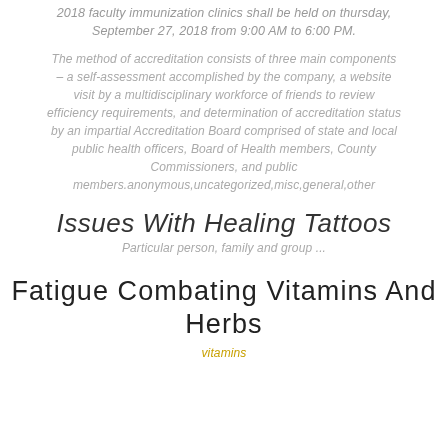2018 faculty immunization clinics shall be held on thursday, September 27, 2018 from 9:00 AM to 6:00 PM.
The method of accreditation consists of three main components – a self-assessment accomplished by the company, a website visit by a multidisciplinary workforce of friends to review efficiency requirements, and determination of accreditation status by an impartial Accreditation Board comprised of state and local public health officers, Board of Health members, County Commissioners, and public members.anonymous,uncategorized,misc,general,other
Issues With Healing Tattoos
Particular person, family and group ...
Fatigue Combating Vitamins And Herbs
vitamins